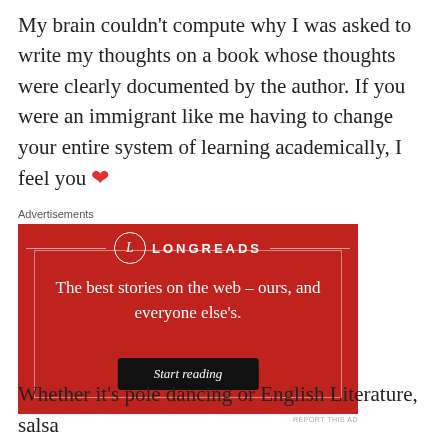My brain couldn't compute why I was asked to write my thoughts on a book whose thoughts were clearly documented by the author. If you were an immigrant like me having to change your entire system of learning academically, I feel you ❤
[Figure (other): Longreads advertisement banner with red background. Shows Longreads logo with circle L, tagline 'The best stories on the web – ours, and everyone else's.' and a 'Start reading' button.]
Whether it's pole dancing or English Literature, salsa